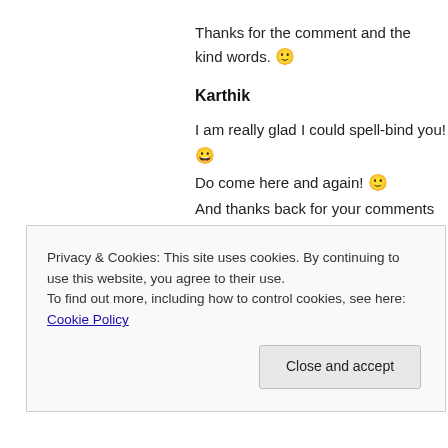Thanks for the comment and the kind words. 🙂
Karthik
I am really glad I could spell-bind you! 😀
Do come here and again! 🙂
And thanks back for your comments and for the fo...
Gopinath Mavinkurve
Thank you so much, Sir. I am honoured. I am really... and get to their hearts with just a story. 🙂
Privacy & Cookies: This site uses cookies. By continuing to use this website, you agree to their use.
To find out more, including how to control cookies, see here: Cookie Policy